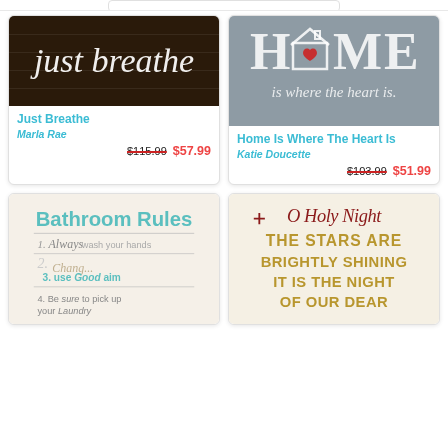[Figure (photo): Top partial product card visible at top of page, cropped]
[Figure (photo): Canvas art print showing 'just breathe' text in white script on dark wood background]
Just Breathe
Marla Rae
$115.99  $57.99
[Figure (photo): Canvas art print on gray background showing HOME with house illustration and heart, 'is where the heart is' text]
Home Is Where The Heart Is
Katie Doucette
$103.99  $51.99
[Figure (photo): Canvas art print 'Bathroom Rules' with numbered list: 1. Always wash your hands, 2. (Chanu...), 3. use Good aim, 4. Be sure to pick up your Laundry]
[Figure (photo): Canvas art print 'O Holy Night THE STARS ARE BRIGHTLY SHINING IT IS THE NIGHT OF OUR DEAR' in red and gold text on cream background]